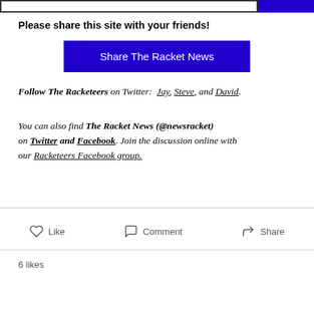Please share this site with your friends!
Share The Racket News
Follow The Racketeers on Twitter: Jay, Steve, and David.
You can also find The Racket News (@newsracket) on Twitter and Facebook. Join the discussion online with our Racketeers Facebook group.
Like   Comment   Share
6 likes